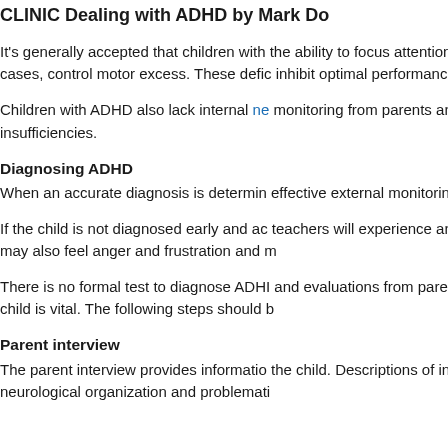CLINIC Dealing with ADHD by Mark Do...
It's generally accepted that children with the ability to focus attention on "meaning... cases, control motor excess. These defic... inhibit optimal performance at home, at s...
Children with ADHD also lack internal ne... monitoring from parents and teachers to... insufficiencies.
Diagnosing ADHD
When an accurate diagnosis is determin... effective external monitoring strategies w...
If the child is not diagnosed early and ac... teachers will experience anxiety, frustrati... may also feel anger and frustration and m...
There is no formal test to diagnose ADHI... and evaluations from parents, teachers,... child is vital. The following steps should b...
Parent interview
The parent interview provides informatio... the child. Descriptions of infant and toddl... neurological organization and problemati...